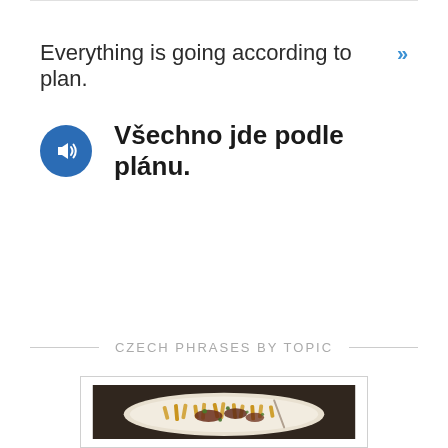Everything is going according to plan. »
Všechno jde podle plánu.
CZECH PHRASES BY TOPIC
[Figure (photo): A plate of food (pasta/fries dish) with garnish on a dark surface, viewed from above]